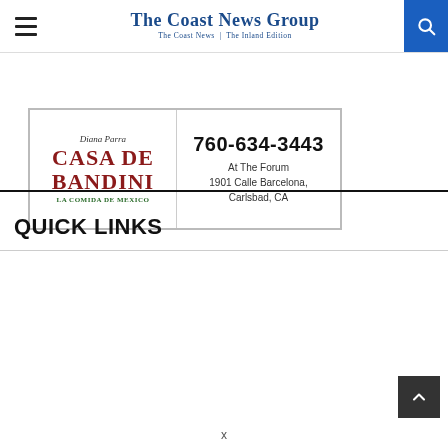The Coast News Group — The Coast News | The Inland Edition
[Figure (infographic): Casa De Bandini advertisement: logo on left with script signature, red text 'CASA DE BANDINI', green text 'LA COMIDA DE MEXICO'. Right side shows phone number 760-634-3443, At The Forum, 1901 Calle Barcelona, Carlsbad, CA]
QUICK LINKS